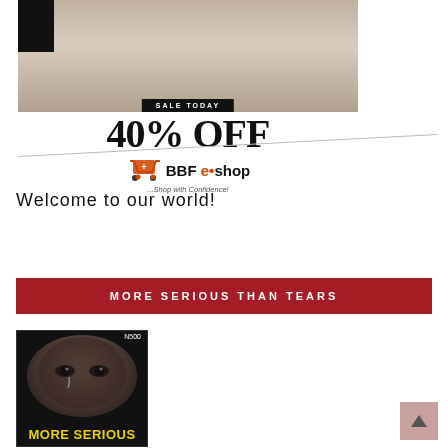[Figure (illustration): BBF e-shop advertisement banner showing a fashion photo of a person seated, with 'SALE TODAY' badge, '40% OFF' text, BBF e-shop logo with shopping cart, and tagline '...Shop with Confidence!' with diagonal decorative line.]
Welcome to our world!
MORE SERIOUS THAN TEARS
[Figure (photo): Book cover for 'MORE SERIOUS THAN TEARS' showing a dark close-up portrait of a tattooed person inside a circular frame on a black background, with price 'N500' in top right corner and yellow bold title text 'MORE SERIOUS' at the bottom.]
[Figure (other): Back to top button — pink/mauve square with upward chevron arrow.]